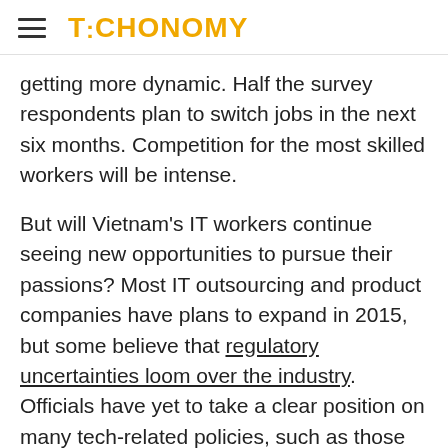TECHONOMY
getting more dynamic. Half the survey respondents plan to switch jobs in the next six months. Competition for the most skilled workers will be intense.
But will Vietnam's IT workers continue seeing new opportunities to pursue their passions? Most IT outsourcing and product companies have plans to expand in 2015, but some believe that regulatory uncertainties loom over the industry. Officials have yet to take a clear position on many tech-related policies, such as those related to social networks, over-the-top applications, and cross-border IT commerce. Until these issues are resolved, some